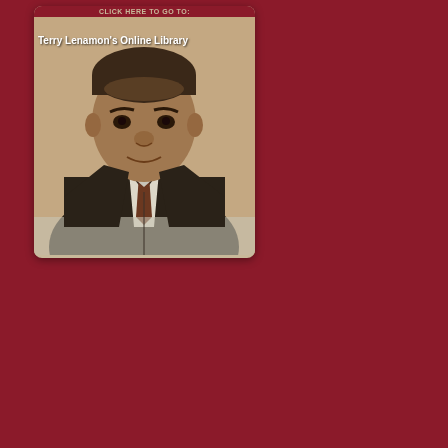[Figure (photo): Photo card showing Terry Lenamon in a dark suit with a tie, sepia-toned portrait, with a 'CLICK HERE TO GO TO:' banner at the top and 'Terry Lenamon's Online Library' text overlay]
Search...
Stay Connected
[Figure (illustration): Social media icons: RSS feed icon, LinkedIn icon, Twitter bird icon]